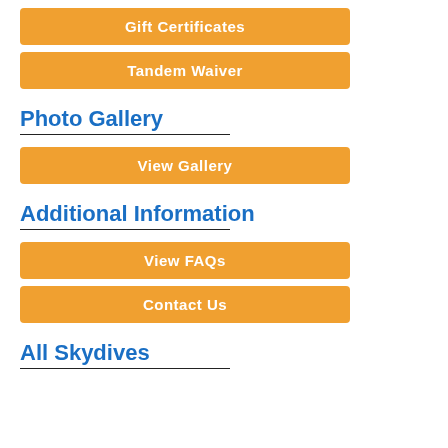Gift Certificates
Tandem Waiver
Photo Gallery
View Gallery
Additional Information
View FAQs
Contact Us
All Skydives